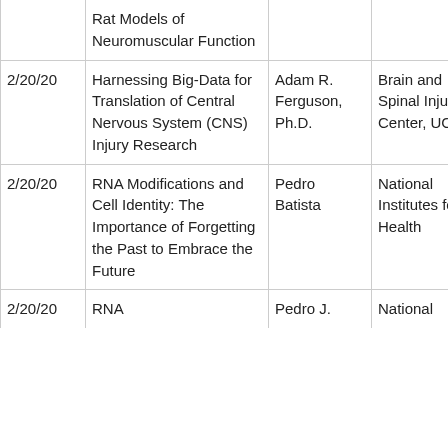| Date | Title | Author | Organization | Notes |
| --- | --- | --- | --- | --- |
|  | Rat Models of Neuromuscular Function |  |  | Sen… |
| 2/20/20 | Harnessing Big-Data for Translation of Central Nervous System (CNS) Injury Research | Adam R. Ferguson, Ph.D. | Brain and Spinal Injury Center, UCSF | Ana… Cel… Sen… |
| 2/20/20 | RNA Modifications and Cell Identity: The Importance of Forgetting the Past to Embrace the Future | Pedro Batista | National Institutes for Health | Sen… Dev… and… Pat… of D… |
| 2/20/20 | RNA | Pedro J. | National | Pat… |